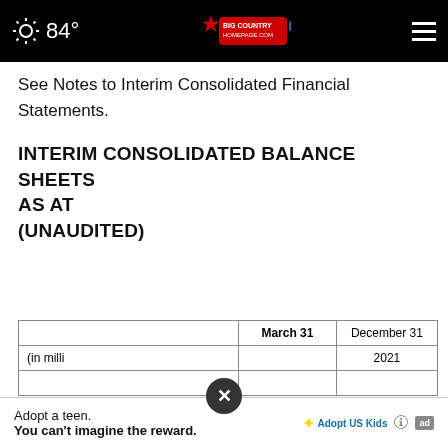84° Big Country Homepage.com
See Notes to Interim Consolidated Financial Statements.
INTERIM CONSOLIDATED BALANCE SHEETS AS AT (unaudited)
|  | March 31 | December 31 |
| --- | --- | --- |
| (in milli... |  | 2021 |